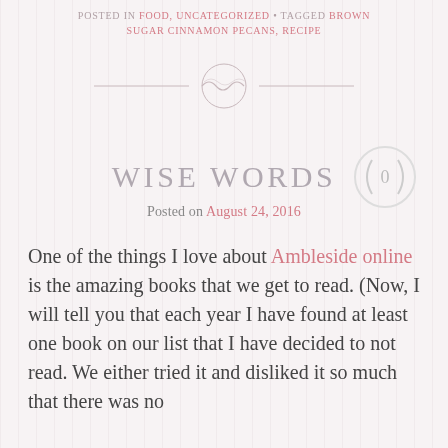POSTED IN FOOD, UNCATEGORIZED • TAGGED BROWN SUGAR CINNAMON PECANS, RECIPE
[Figure (illustration): Decorative divider with swirling ornamental design and circle center element]
WISE WORDS
Posted on August 24, 2016
One of the things I love about Ambleside online is the amazing books that we get to read. (Now, I will tell you that each year I have found at least one book on our list that I have decided to not read. We either tried it and disliked it so much that there was no